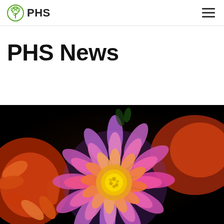PHS
PHS News
[Figure (photo): Close-up photograph of colorful dahlia flowers with vivid pink, purple, orange, and yellow petals arranged in concentric layers. Multiple blooms visible with dark background.]